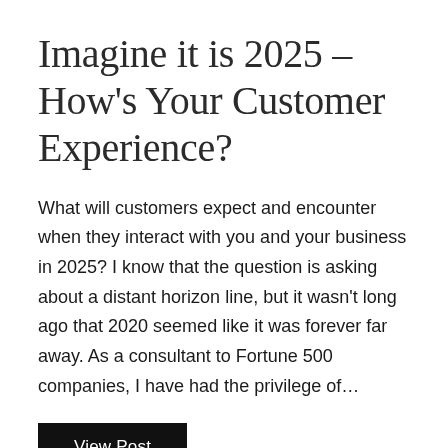Imagine it is 2025 – How's Your Customer Experience?
What will customers expect and encounter when they interact with you and your business in 2025? I know that the question is asking about a distant horizon line, but it wasn't long ago that 2020 seemed like it was forever far away. As a consultant to Fortune 500 companies, I have had the privilege of...
View Post